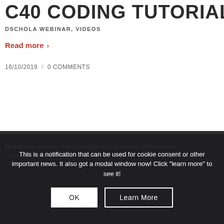C40 CODING TUTORIAL
DSCHOLA WEBINAR, VIDEOS
Read more ›
16/10/2019 / 0 COMMENTS
Multiplying evidence based strategies for inclusion (#Mulcinclude)
Project ref: 592125-EPP-1-2017-1-NL-EPPKA3-IPI-SOC-IN
This is a notification that can be used for cookie consent or other important news. It also got a modal window now! Click "learn more" to see it!